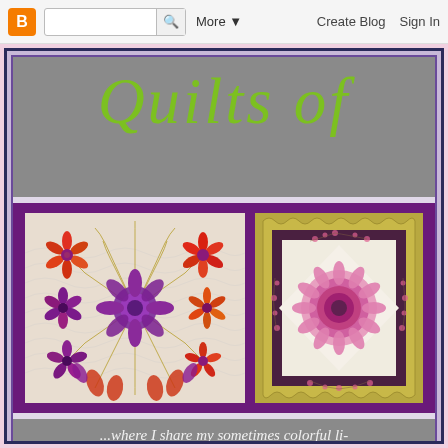B  [search]  More▼  Create Blog  Sign In
Quilts of
[Figure (photo): Close-up photo of a colorful quilt with red, orange, and purple flower appliqués on a white background with intricate quilting patterns]
[Figure (photo): Photo of a quilt with pink and rose floral medallion center on cream background, surrounded by dark border and olive/gold scalloped outer border with cherry blossom sprigs]
...where I share my sometimes colorful li- thoughts, & plenty of quil-